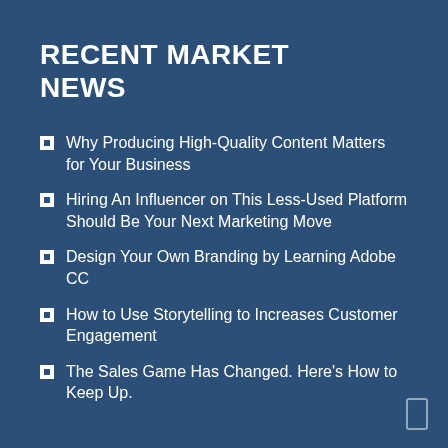RECENT MARKET NEWS
Why Producing High-Quality Content Matters for Your Business
Hiring An Influencer on This Less-Used Platform Should Be Your Next Marketing Move
Design Your Own Branding by Learning Adobe CC
How to Use Storytelling to Increases Customer Engagement
The Sales Game Has Changed. Here's How to Keep Up.